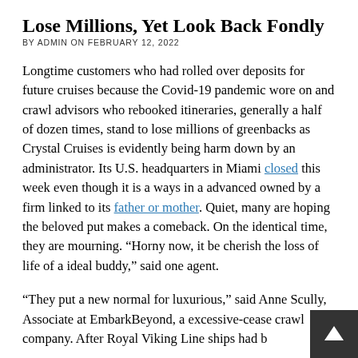Lose Millions, Yet Look Back Fondly
BY ADMIN ON FEBRUARY 12, 2022
Longtime customers who had rolled over deposits for future cruises because the Covid-19 pandemic wore on and crawl advisors who rebooked itineraries, generally a half of dozen times, stand to lose millions of greenbacks as Crystal Cruises is evidently being harm down by an administrator. Its U.S. headquarters in Miami closed this week even though it is a ways in a advanced owned by a firm linked to its father or mother. Quiet, many are hoping the beloved put makes a comeback. On the identical time, they are mourning. “Horny now, it be cherish the loss of life of a ideal buddy,” said one agent.
“They put a new normal for luxurious,” said Anne Scully, Associate at EmbarkBeyond, a excessive-cease crawl company. After Royal Viking Line ships had b